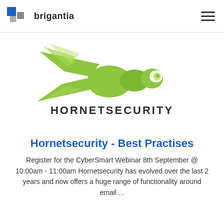brigantia
[Figure (logo): Hornetsecurity logo: green stylized flying hornet/wasp above the text HORNETSECURITY in dark grey/black wide tracking uppercase letters]
Hornetsecurity - Best Practises
Register for the CyberSmart Webinar 8th September @ 10:00am - 11:00am Hornetsecurity has evolved over the last 2 years and now offers a huge range of functionality around email ...